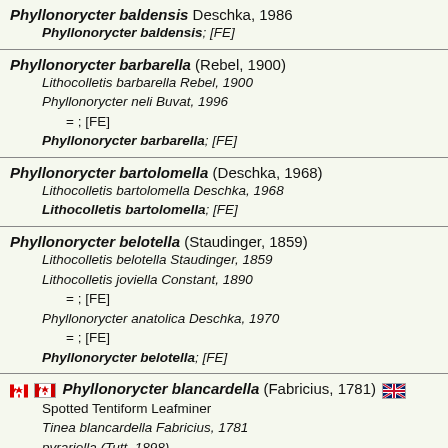Phyllonorycter baldensis Deschka, 1986
    Phyllonorycter baldensis; [FE]
Phyllonorycter barbarella (Rebel, 1900)
    Lithocolletis barbarella Rebel, 1900
    Phyllonorycter neli Buvat, 1996
        = ; [FE]
    Phyllonorycter barbarella; [FE]
Phyllonorycter bartolomella (Deschka, 1968)
    Lithocolletis bartolomella Deschka, 1968
    Lithocolletis bartolomella; [FE]
Phyllonorycter belotella (Staudinger, 1859)
    Lithocolletis belotella Staudinger, 1859
    Lithocolletis joviella Constant, 1890
        = ; [FE]
    Phyllonorycter anatolica Deschka, 1970
        = ; [FE]
    Phyllonorycter belotella; [FE]
Phyllonorycter blancardella (Fabricius, 1781)
    Spotted Tentiform Leafminer
    Tinea blancardella Fabricius, 1781
    pyrariella (Tutt, 1898)
        = ; [NACL] #749